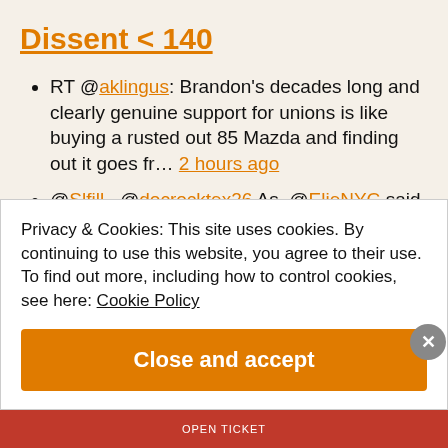Dissent < 140
RT @aklingus: Brandon's decades long and clearly genuine support for unions is like buying a rusted out 85 Mazda and finding out it goes fr… 2 hours ago
@Slfill_ @docrocktex26 As .@ElieNYC said just now, "How is that man still free?" 6 hours ago
RT @lsapper: At 5 years to life for performing or…
Privacy & Cookies: This site uses cookies. By continuing to use this website, you agree to their use.
To find out more, including how to control cookies, see here: Cookie Policy
Close and accept